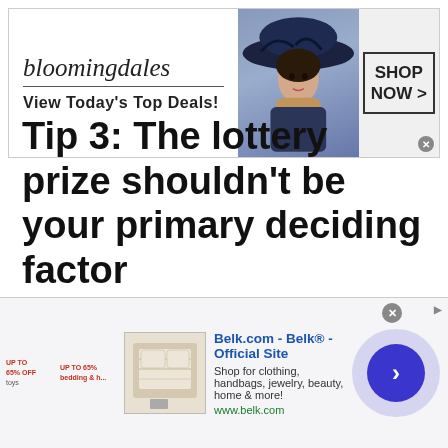[Figure (screenshot): Bloomingdale's banner advertisement with logo, 'View Today's Top Deals!' tagline, fashion model image, and 'SHOP NOW >' button in a box]
Tip 3: The lottery prize shouldn't be your primary deciding factor
[Figure (screenshot): Belk.com advertisement banner showing product images, 'Belk.com - Belk® - Official Site' title in blue, description text, www.belk.com URL, and a circular blue arrow button]